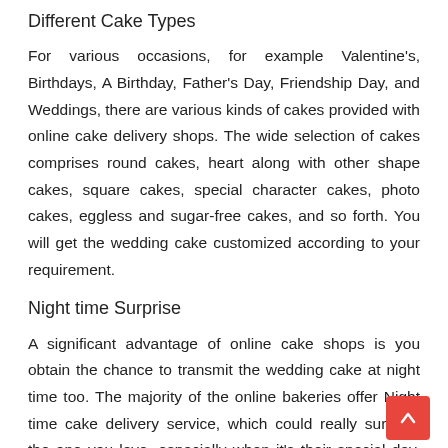Different Cake Types
For various occasions, for example Valentine's, Birthdays, A Birthday, Father's Day, Friendship Day, and Weddings, there are various kinds of cakes provided with online cake delivery shops. The wide selection of cakes comprises round cakes, heart along with other shape cakes, square cakes, special character cakes, photo cakes, eggless and sugar-free cakes, and so forth. You will get the wedding cake customized according to your requirement.
Night time Surprise
A significant advantage of online cake shops is you obtain the chance to transmit the wedding cake at night time too. The majority of the online bakeries offer Night time cake delivery service, which could really surprise the one you love, especially when it's their special day. Here, the time arms tick 12, there, the doorbell rings. Exciting, no?